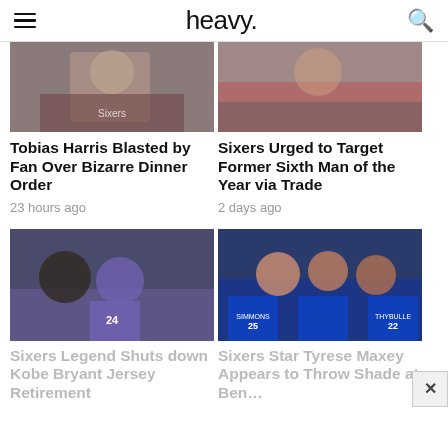heavy.
[Figure (photo): Tobias Harris in Sixers uniform on basketball court]
[Figure (photo): Sixers player on basketball court]
Tobias Harris Blasted by Fan Over Bizarre Dinner Order
23 hours ago
Sixers Urged to Target Former Sixth Man of the Year via Trade
2 days ago
[Figure (photo): Sixers legend with Kobe Bryant wearing Lakers number 24 jersey]
[Figure (photo): Sixers players including Simmons and Thybulle celebrating]
Sixers Legend Shuts down Kobe Bryant Jersey Retirement
Sixers Star Tyrese Maxey Appears to Throw Shade at Ben…